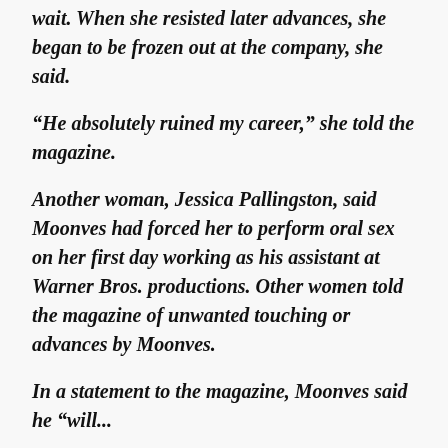wait. When she resisted later advances, she began to be frozen out at the company, she said.
“He absolutely ruined my career,” she told the magazine.
Another woman, Jessica Pallingston, said Moonves had forced her to perform oral sex on her first day working as his assistant at Warner Bros. productions. Other women told the magazine of unwanted touching or advances by Moonves.
In a statement to the magazine, Moonves said he “will...